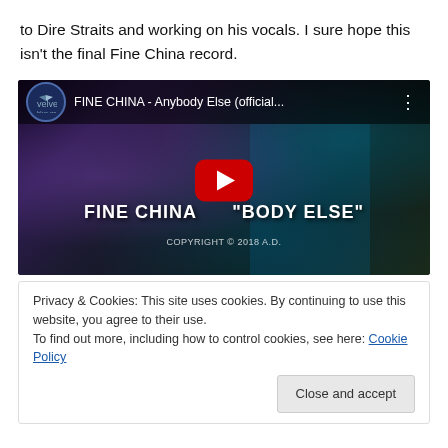to Dire Straits and working on his vocals. I sure hope this isn't the final Fine China record.
[Figure (screenshot): YouTube video embed showing FINE CHINA - Anybody Else (official...) with a red play button overlay, concert background with guitarist, channel logo (velvet blue music), and copyright 2018 A.D. text at the bottom]
Privacy & Cookies: This site uses cookies. By continuing to use this website, you agree to their use.
To find out more, including how to control cookies, see here: Cookie Policy
Close and accept